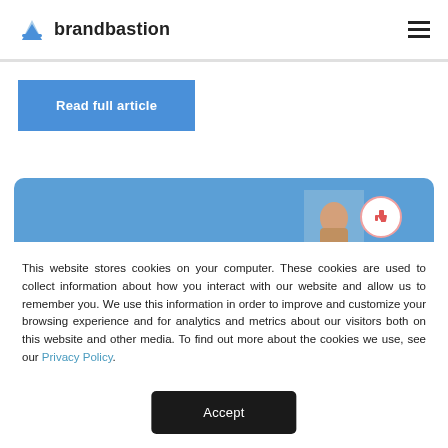brandbastion
[Figure (screenshot): Read full article blue button]
[Figure (screenshot): Blue card with person image and thumbs down icon]
This website stores cookies on your computer. These cookies are used to collect information about how you interact with our website and allow us to remember you. We use this information in order to improve and customize your browsing experience and for analytics and metrics about our visitors both on this website and other media. To find out more about the cookies we use, see our Privacy Policy.
[Figure (screenshot): Accept button (dark/black rounded rectangle)]